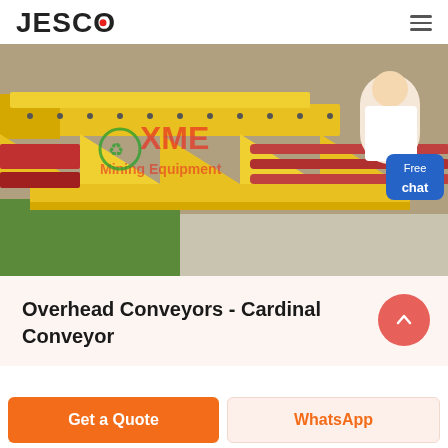JESCO
[Figure (photo): Industrial yellow conveyor equipment with metal frame and rollers, with XME Mining Equipment watermark overlay and a Free chat customer support button in the top right corner]
Overhead Conveyors - Cardinal Conveyor
Get a Quote
WhatsApp